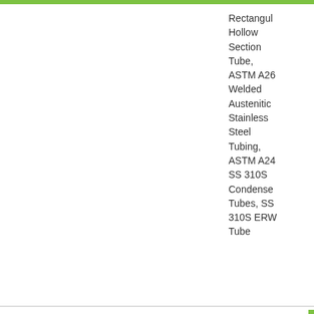Rectangular Hollow Section Tube, ASTM A269, Welded Austenitic Stainless Steel Tubing, ASTM A249, SS 310S Condenser Tubes, SS 310S ERW Tube
[Figure (photo): Photo of stainless steel pipe/tube fittings clustered together]
EFW Pipe
Stainless steel, SS, Austenitic Stainless
Gr 310S, TP310S
Stainless Steel 310S EFW Pipe, ASTM A358